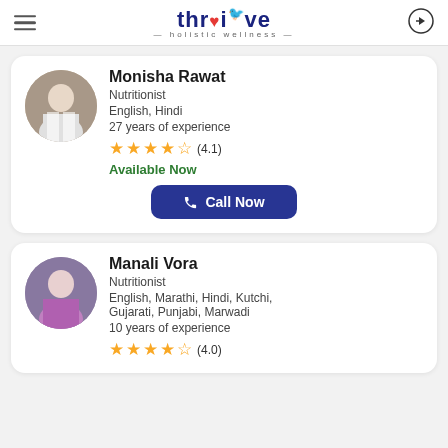thriive — holistic wellness —
Monisha Rawat
Nutritionist
English, Hindi
27 years of experience
★★★★☆ (4.1)
Available Now
Call Now
Manali Vora
Nutritionist
English, Marathi, Hindi, Kutchi, Gujarati, Punjabi, Marwadi
10 years of experience
★★★★☆ (4.0)